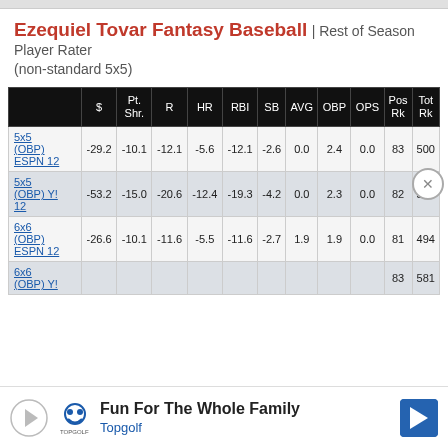Ezequiel Tovar Fantasy Baseball | Rest of Season Player Rater (non-standard 5x5)
|  | $ | Pt. Shr. | R | HR | RBI | SB | AVG | OBP | OPS | Pos Rk | Tot Rk |
| --- | --- | --- | --- | --- | --- | --- | --- | --- | --- | --- | --- |
| 5x5 (OBP) ESPN 12 | -29.2 | -10.1 | -12.1 | -5.6 | -12.1 | -2.6 | 0.0 | 2.4 | 0.0 | 83 | 500 |
| 5x5 (OBP) Y! 12 | -53.2 | -15.0 | -20.6 | -12.4 | -19.3 | -4.2 | 0.0 | 2.3 | 0.0 | 82 | 581 |
| 6x6 (OBP) ESPN 12 | -26.6 | -10.1 | -11.6 | -5.5 | -11.6 | -2.7 | 1.9 | 1.9 | 0.0 | 81 | 494 |
| 6x6 (OBP) Y! 12 | ... | ... | ... | ... | ... | ... | ... | ... | ... | 83 | 581 |